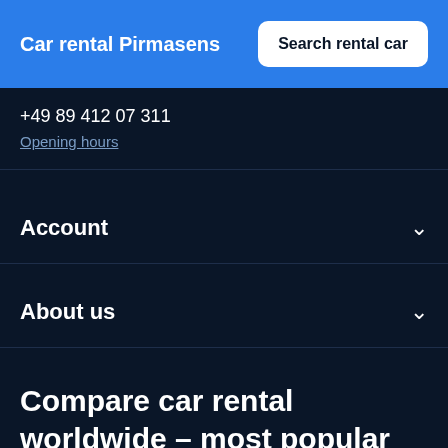Car rental Pirmasens
+49 89 412 07 311
Opening hours
Account
About us
Compare car rental worldwide - most popular destinations